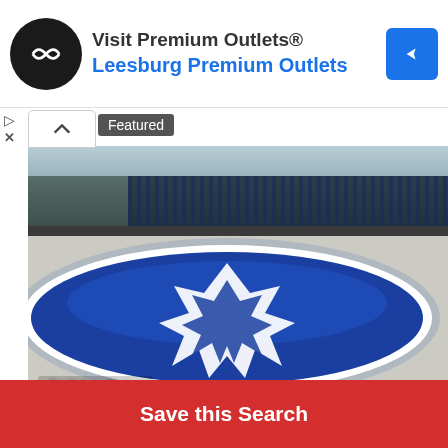[Figure (screenshot): Advertisement banner for 'Visit Premium Outlets® Leesburg Premium Outlets' with a black circular icon on the left showing a navigation/compass symbol, blue text for the location name, and a blue diamond navigation icon on the right.]
[Figure (photo): Photo of a large blue oval logo painted on a white rooftop or floor surface, with a stadium visible in the background. The logo features a white star/lightning bolt design on a blue oval background. Text overlay reads 'Call for Price' and a 'Featured' badge is shown.]
Hand Painted Outdoor Advertisements Sinc...
Save this Search